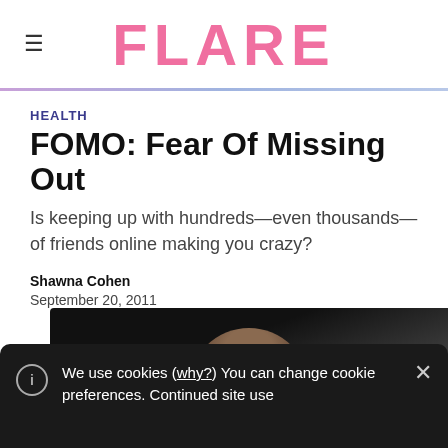FLARE
HEALTH
FOMO: Fear Of Missing Out
Is keeping up with hundreds—even thousands—of friends online making you crazy?
Shawna Cohen
September 20, 2011
[Figure (photo): Photo of a person, partially visible, dark background with diagonal light streak]
We use cookies (why?) You can change cookie preferences. Continued site use